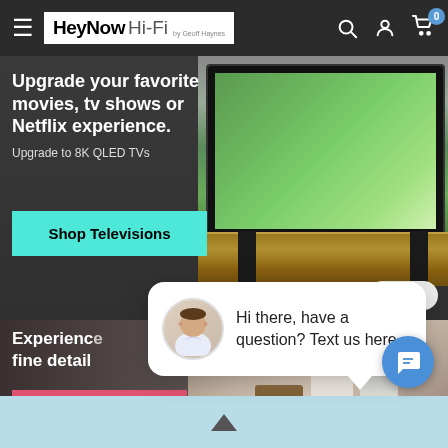HeyNow Hi-Fi by Geoff Haynes — navigation bar with hamburger menu, search, account, and cart icons
[Figure (screenshot): Banner advertisement for 8K QLED TVs showing a TV displaying a forest scene on a wooden media console. Text reads: Upgrade your favorite movies, tv shows or Netflix experience. Upgrade to 8K QLED TVs. Shop Televisions button in cyan. Close button at bottom right.]
[Figure (screenshot): Chat popup overlay with avatar of a man in a white shirt, text reading: Hi there, have a question? Text us here.]
[Figure (screenshot): Lower banner section showing amplifiers/audio equipment on shelves with text: Experience fine detail. Shop amplifiers button in red/pink.]
[Figure (screenshot): Blue chat launcher button with message icon at bottom right. Light blue bottom bar with upward arrow.]